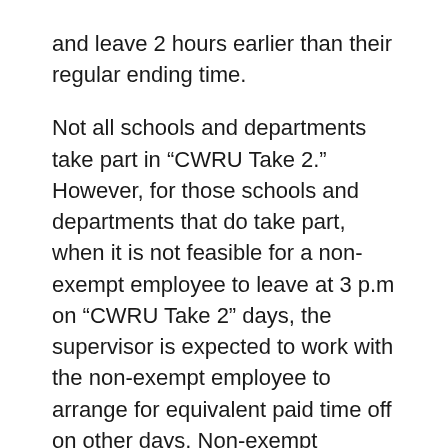and leave 2 hours earlier than their regular ending time.
Not all schools and departments take part in “CWRU Take 2.” However, for those schools and departments that do take part, when it is not feasible for a non-exempt employee to leave at 3 p.m on “CWRU Take 2” days, the supervisor is expected to work with the non-exempt employee to arrange for equivalent paid time off on other days. Non-exempt employees unable to leave early on the designated days due to departmental demands either may take off two (2) alternative hours during that work week (at days and times designed by their supervisors) or, upon approval of their